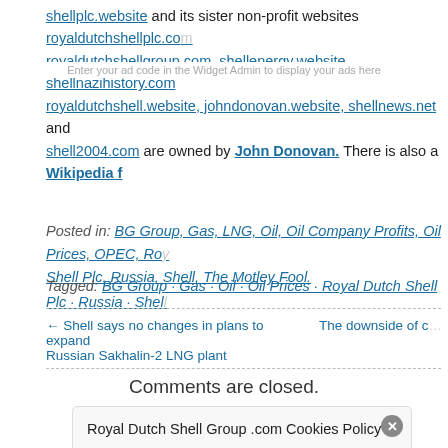shellplc.website and its sister non-profit websites royaldutchshellplc.com royaldutchshellgroup.com, shellenergy.website, shellnazihistory.com royaldutchshell.website, johndonovan.website, shellnews.net and shell2004.com are owned by John Donovan. There is also a Wikipedia f...
Enter your ad code in the Widget Admin to display your ads here
Posted in: BG Group, Gas, LNG, Oil, Oil Company Profits, Oil Prices, OPEC, Roy... Shell Plc, Russia, Shell, The Motley Fool.
Tagged: BG Group · Gas · Oil · Oil Prices · Royal Dutch Shell Plc · Russia · Shell
← Shell says no changes in plans to expand Russian Sakhalin-2 LNG plant
The downside of c...
Comments are closed.
Royal Dutch Shell Group .com Cookies Policy
Our Website uses cookies to improve your experience. Please visit our Privacy page for more information about cookies and how we use them.